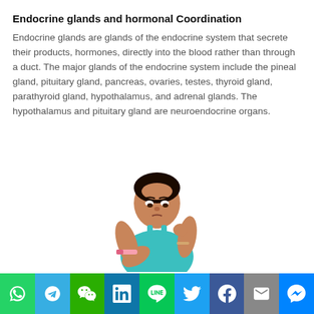Endocrine glands and hormonal Coordination
Endocrine glands are glands of the endocrine system that secrete their products, hormones, directly into the blood rather than through a duct. The major glands of the endocrine system include the pineal gland, pituitary gland, pancreas, ovaries, testes, thyroid gland, parathyroid gland, hypothalamus, and adrenal glands. The hypothalamus and pituitary gland are neuroendocrine organs.
[Figure (photo): A woman in a blue tank top looking down at a pregnancy test with a concerned expression]
[Figure (infographic): Social media share bar with buttons for WhatsApp, Telegram, WeChat, LinkedIn, LINE, Twitter, Facebook, Email, and Messenger]